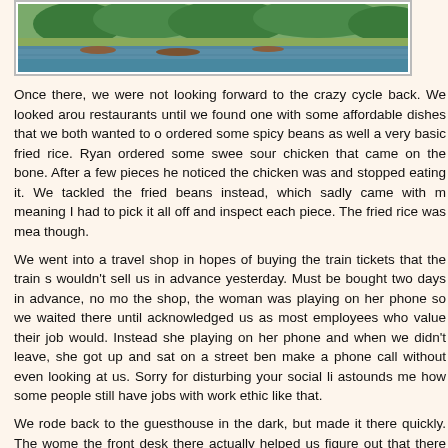[Figure (photo): Photo of a river scene with green hillside and trees, boats visible near the water's edge]
Once there, we were not looking forward to the crazy cycle back. We looked around restaurants until we found one with some affordable dishes that we both wanted to ordered some spicy beans as well a very basic fried rice. Ryan ordered some sweet sour chicken that came on the bone. After a few pieces he noticed the chicken was and stopped eating it. We tackled the fried beans instead, which sadly came with m meaning I had to pick it all off and inspect each piece. The fried rice was meat though.
We went into a travel shop in hopes of buying the train tickets that the train st wouldn't sell us in advance yesterday. Must be bought two days in advance, no mo the shop, the woman was playing on her phone so we waited there until acknowledged us as most employees who value their job would. Instead she playing on her phone and when we didn't leave, she got up and sat on a street ben make a phone call without even looking at us. Sorry for disturbing your social li astounds me how some people still have jobs with work ethic like that.
We rode back to the guesthouse in the dark, but made it there quickly. The wome the front desk there actually helped us figure out that there were 13 train tickets l Chengdu and if we went to another hotel earlier in the morning, we just might be ab get them. I really hoped that we could.
-Sarah
Posted by Sarah.M 16:54 Archived in China Tagged trees village corn bike chic bamboo raft yangshuo karst mandarin dragonbridge Comments